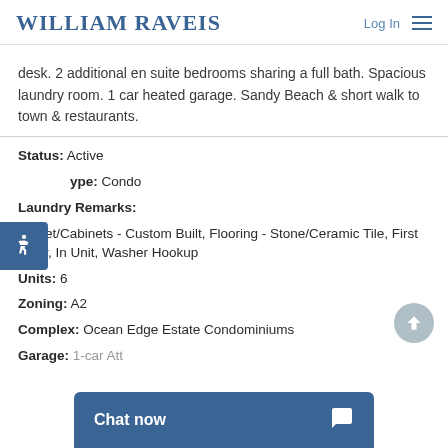WILLIAM RAVEIS | Log In
desk. 2 additional en suite bedrooms sharing a full bath. Spacious laundry room. 1 car heated garage. Sandy Beach & short walk to town & restaurants.
Status: Active
Type: Condo
Laundry Remarks: Closet/Cabinets - Custom Built, Flooring - Stone/Ceramic Tile, First Floor, In Unit, Washer Hookup
Units: 6
Zoning: A2
Complex: Ocean Edge Estate Condominiums
Garage: 1-car Att...